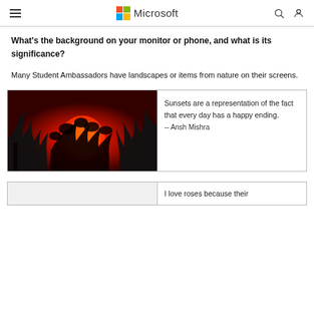Microsoft
What's the background on your monitor or phone, and what is its significance?
Many Student Ambassadors have landscapes or items from nature on their screens.
[Figure (photo): A red-toned sunset photo with silhouetted tree branches and a large glowing red sun in the background]
Sunsets are a representation of the fact that every day has a happy ending.
-- Ansh Mishra
I love roses because their